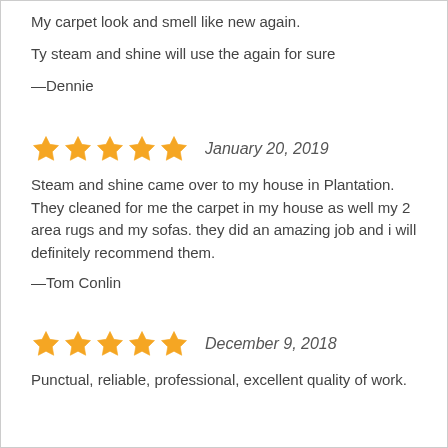My carpet look and smell like new again.
Ty steam and shine will use the again for sure
—Dennie
★★★★★  January 20, 2019
Steam and shine came over to my house in Plantation. They cleaned for me the carpet in my house as well my 2 area rugs and my sofas. they did an amazing job and i will definitely recommend them.
—Tom Conlin
★★★★★  December 9, 2018
Punctual, reliable, professional, excellent quality of work.